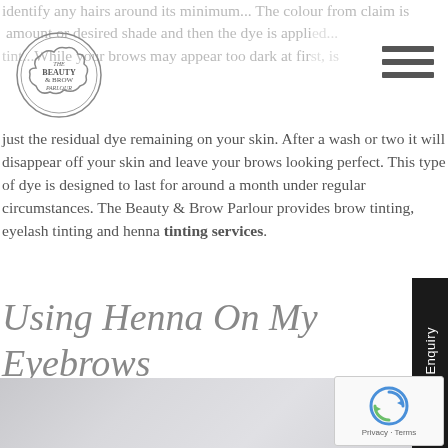[Figure (logo): The Beauty & Brow Parlour circular logo]
...identify any hairs around its minimum... The colour from claim is the amount or desired shade and then the dye is applied... While your brows may appear too dark at first, is just the residual dye remaining on your skin. After a wash or two it will disappear off your skin and leave your brows looking perfect. This type of dye is designed to last for around a month under regular circumstances. The Beauty & Brow Parlour provides brow tinting, eyelash tinting and henna tinting services.
Using Henna On My Eyebrows
[Figure (photo): Grey/silver background photo area at bottom of page]
[Figure (other): reCAPTCHA widget with Privacy and Terms links]